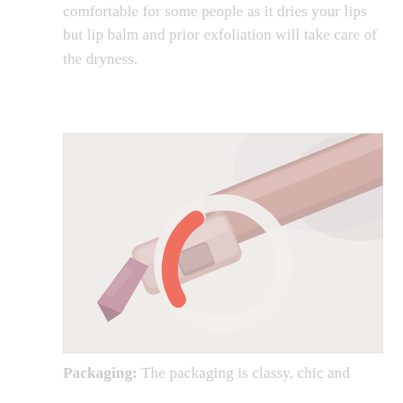comfortable for some people as it dries your lips but lip balm and prior exfoliation will take care of the dryness.
[Figure (photo): Close-up photo of a pink lipstick lying diagonally on a white lace fabric background. A white circle with a coral/red arc segment highlights the joint between the lipstick cap and tube.]
Packaging: The packaging is classy, chic and